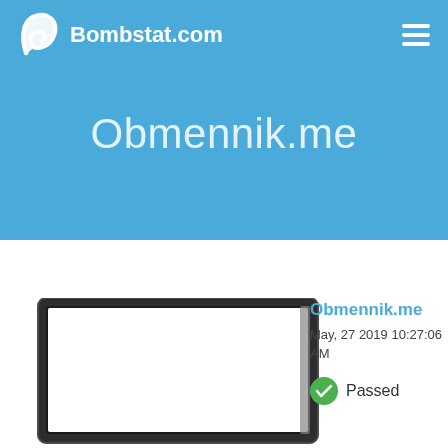Bombstat.com
Obmennik.me
[Figure (screenshot): Laptop/monitor frame showing a website screenshot preview]
Obmennik.me
May, 27 2019 10:27:06 AM
Passed